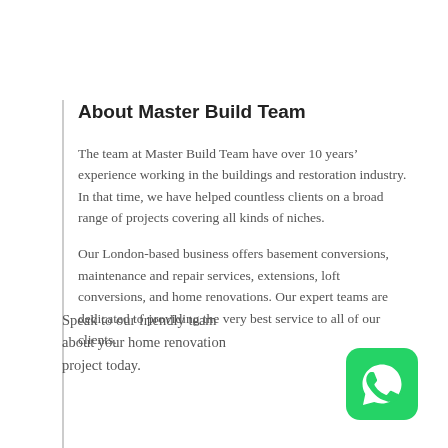About Master Build Team
The team at Master Build Team have over 10 years' experience working in the buildings and restoration industry. In that time, we have helped countless clients on a broad range of projects covering all kinds of niches.
Our London-based business offers basement conversions, maintenance and repair services, extensions, loft conversions, and home renovations. Our expert teams are dedicated to providing the very best service to all of our clients.
Speak to our friendly team about your home renovation project today.
[Figure (logo): WhatsApp icon — green rounded square with white phone/chat bubble logo]